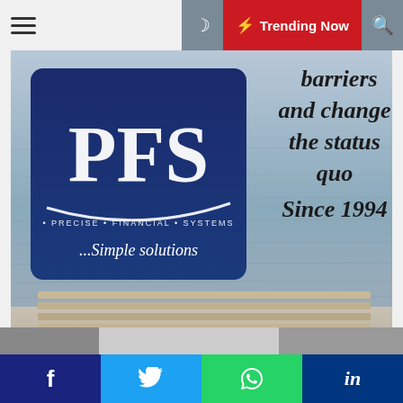Trending Now
[Figure (advertisement): PFS (Precise Financial Systems) advertisement banner showing the PFS logo with text '...Simple solutions', overlaid on a photo of a waterfront bench scene. Text reads: 'barriers and change the status quo Since 1994'. Contact info: '437, Herbert Macaulay Way, Yaba, Lagos-Nigeria | +234 817 536 6802 | www.thepfs.biz | pfs@thepfs.biz']
f  Twitter  WhatsApp  in